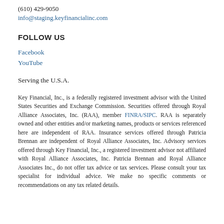(610) 429-9050
info@staging.keyfinancialinc.com
FOLLOW US
Facebook
YouTube
Serving the U.S.A.
Key Financial, Inc., is a federally registered investment advisor with the United States Securities and Exchange Commission. Securities offered through Royal Alliance Associates, Inc. (RAA), member FINRA/SIPC. RAA is separately owned and other entities and/or marketing names, products or services referenced here are independent of RAA. Insurance services offered through Patricia Brennan are independent of Royal Alliance Associates, Inc. Advisory services offered through Key Financial, Inc., a registered investment advisor not affiliated with Royal Alliance Associates, Inc. Patricia Brennan and Royal Alliance Associates Inc., do not offer tax advice or tax services. Please consult your tax specialist for individual advice. We make no specific comments or recommendations on any tax related details.